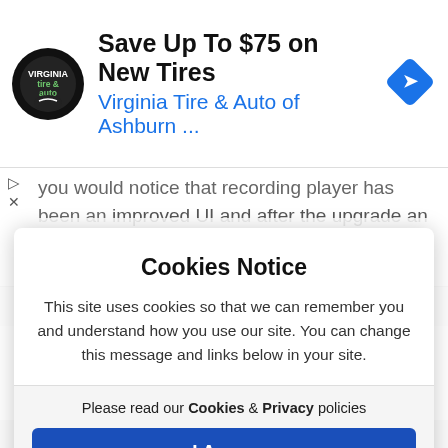[Figure (infographic): Ad banner for Virginia Tire & Auto of Ashburn with logo, headline 'Save Up To $75 on New Tires', subtitle 'Virginia Tire & Auto of Ashburn ...', and a blue navigation diamond icon]
you would notice that recording player has been an improved UI and after the upgrade an issue came out with iPhone users by opening recording URL in safari you would ...
Continue reading  ····>
Cookies Notice
This site uses cookies so that we can remember you and understand how you use our site. You can change this message and links below in your site.
Please read our Cookies & Privacy policies
I Agree